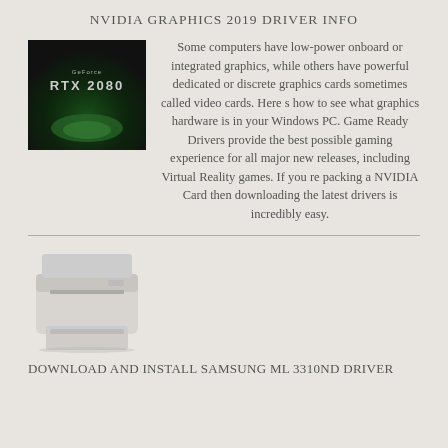NVIDIA GRAPHICS 2019 DRIVER INFO
[Figure (photo): NVIDIA GeForce RTX 2080 graphics card promotional image with green glow on dark background]
Some computers have low-power onboard or integrated graphics, while others have powerful dedicated or discrete graphics cards sometimes called video cards. Here s how to see what graphics hardware is in your Windows PC. Game Ready Drivers provide the best possible gaming experience for all major new releases, including Virtual Reality games. If you re packing a NVIDIA Card then downloading the latest drivers is incredibly easy.
[Figure (photo): Samsung ML 3310ND laser printer, gray/silver colored, on white background]
DOWNLOAD AND INSTALL SAMSUNG ML 3310ND DRIVER